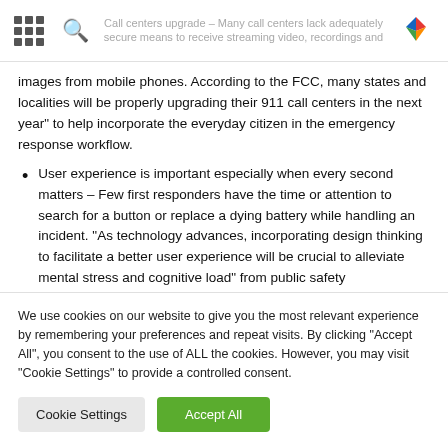Call centers upgrade – Many call centers lack adequate security means to receive streaming video, recordings and images from mobile phones.
images from mobile phones. According to the FCC, many states and localities will be properly upgrading their 911 call centers in the next year" to help incorporate the everyday citizen in the emergency response workflow.
User experience is important especially when every second matters – Few first responders have the time or attention to search for a button or replace a dying battery while handling an incident. "As technology advances, incorporating design thinking to facilitate a better user experience will be crucial to alleviate mental stress and cognitive load" from public safety
We use cookies on our website to give you the most relevant experience by remembering your preferences and repeat visits. By clicking "Accept All", you consent to the use of ALL the cookies. However, you may visit "Cookie Settings" to provide a controlled consent.